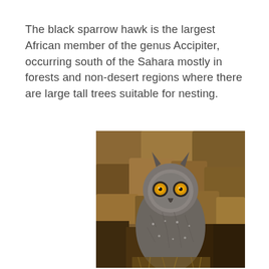The black sparrow hawk is the largest African member of the genus Accipiter, occurring south of the Sahara mostly in forests and non-desert regions where there are large tall trees suitable for nesting.
[Figure (photo): A large owl with bright yellow eyes perched against a rocky brown background, facing the camera. The bird has grey-brown mottled plumage and distinctive ear tufts.]